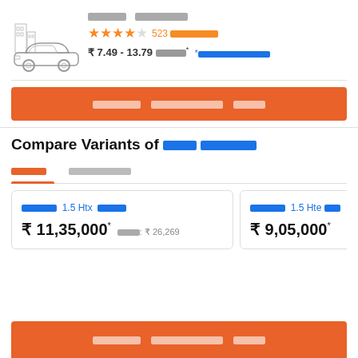[Figure (illustration): Outline illustration of a sedan car with city buildings in background]
Honda Amaze (rendered in local script)
★★★★☆ 523 reviews (rendered in local script)
₹ 7.49 - 13.79 Lakh* *Ex-showroom price in Delhi (rendered in local script)
Get On Road Price (orange button, local script)
Compare Variants of Honda Amaze
Petrol | Automatic (tab labels in local script)
Honda 1.5 Htx Diesel - ₹ 11,35,000* EMI: ₹ 26,269
Honda 1.5 Hte Diesel - ₹ 9,05,000*
Get On Road Price (bottom orange button, local script)